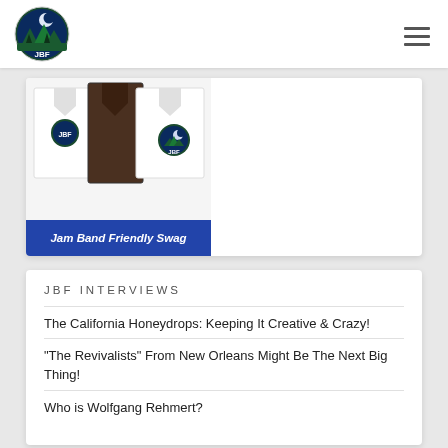JBF - Jam Band Friendly
[Figure (photo): Jam Band Friendly merchandise/swag showing white shirts with JBF logos, with a blue caption bar reading 'Jam Band Friendly Swag']
JBF INTERVIEWS
The California Honeydrops: Keeping It Creative & Crazy!
"The Revivalists" From New Orleans Might Be The Next Big Thing!
Who is Wolfgang Rehmert?